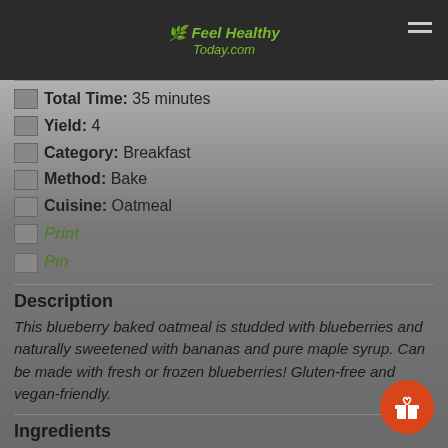Feel Healthy Today.com
Total Time: 35 minutes
Yield: 4
Category: Breakfast
Method: Bake
Cuisine: Oatmeal
Print
Pin
Description
This blueberry baked oatmeal is studded with blueberries and naturally sweetened with bananas and pure maple syrup. Can be made with fresh or frozen blueberries! Gluten-free and vegan-friendly.
Ingredients
2 cups rolled old-fashioned oats